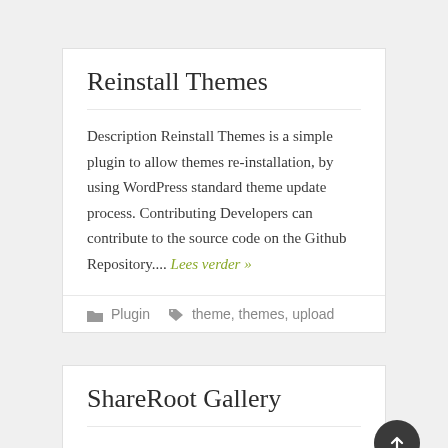Reinstall Themes
Description Reinstall Themes is a simple plugin to allow themes re-installation, by using WordPress standard theme update process. Contributing Developers can contribute to the source code on the Github Repository.... Lees verder »
Plugin   theme, themes, upload
ShareRoot Gallery
Description ShareRoot Gallery allows you to enable User-Generated Content (UGC) engagement on your WordPress website. You